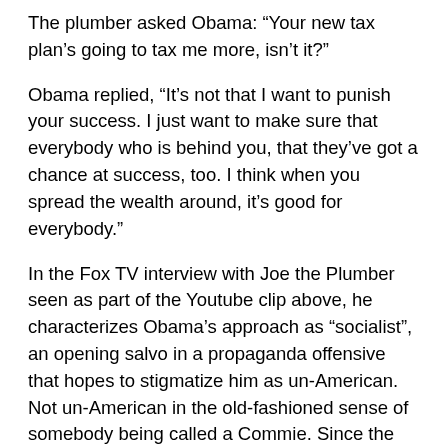The plumber asked Obama: “Your new tax plan’s going to tax me more, isn’t it?”
Obama replied, “It’s not that I want to punish your success. I just want to make sure that everybody who is behind you, that they’ve got a chance at success, too. I think when you spread the wealth around, it’s good for everybody.”
In the Fox TV interview with Joe the Plumber seen as part of the Youtube clip above, he characterizes Obama’s approach as “socialist”, an opening salvo in a propaganda offensive that hopes to stigmatize him as un-American. Not un-American in the old-fashioned sense of somebody being called a Commie. Since the USSR no longer exists, it is pretty hard to pull this off. The last attempt at this was when the Republicans tried to make a big deal out of Bill Clinton going to the Soviet Union when he was a graduate